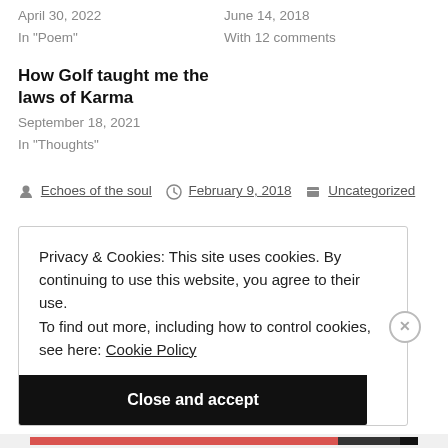April 30, 2022
In "Poem"
June 14, 2018
With 12 comments
How Golf taught me the laws of Karma
September 18, 2021
In "Thoughts"
By Echoes of the soul  February 9, 2018  Uncategorized
Privacy & Cookies: This site uses cookies. By continuing to use this website, you agree to their use.
To find out more, including how to control cookies, see here: Cookie Policy
Close and accept